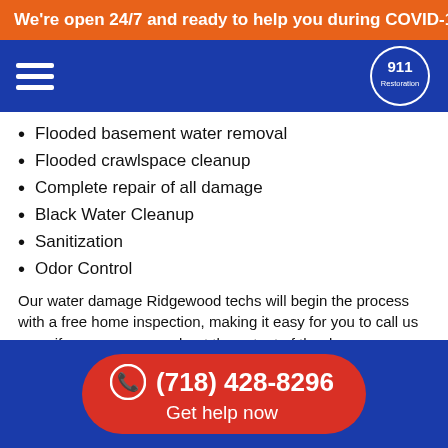We're open 24/7 and ready to help you during COVID-19 with
Flooded basement water removal
Flooded crawlspace cleanup
Complete repair of all damage
Black Water Cleanup
Sanitization
Odor Control
Our water damage Ridgewood techs will begin the process with a free home inspection, making it easy for you to call us even if you are unsure about the extent of the damage.
It is part of our mission statement to implement same day services for all issues involving water, that way we reduce any damage the moisture can caused.
(718) 428-8296 Get help now